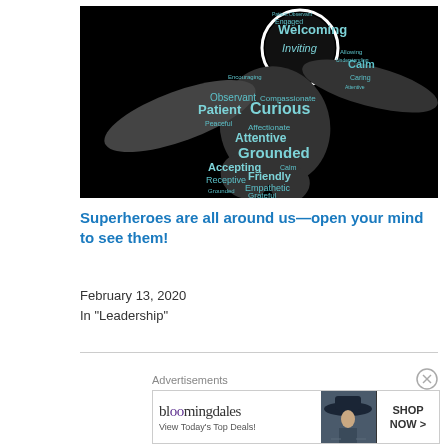[Figure (illustration): Word cloud in the shape of a person/runner figure on black background. Words include: Welcoming, Inviting, Calm, Engaged, Patient, Observant, Curious, Caring, Attentive, Grounded, Accepting, Receptive, Friendly, Empathetic, Grateful, Affectionate, Peaceful, Compassionate, Allowing, Understanding, Attentive, Friendly in teal/cyan colors.]
Superheroes are all around us—open your mind to see them!
February 13, 2020
In "Leadership"
Advertisements
[Figure (other): Bloomingdale's advertisement banner. Shows 'bloomingdales' logo with text 'View Today's Top Deals!' and a woman wearing a large brimmed hat. Button says 'SHOP NOW >']